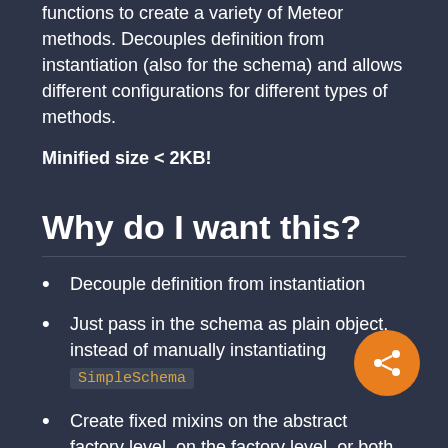functions to create a variety of Meteor methods. Decouples definition from instantiation (also for the schema) and allows different configurations for different types of methods.
Minified size < 2KB!
Why do I want this?
Decouple definition from instantiation
Just pass in the schema as plain object, instead of manually instantiating SimpleSchema
Create fixed mixins on the abstract factory level, on the factory level, or both